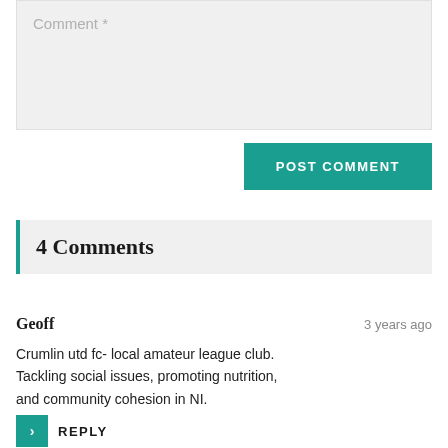Comment *
POST COMMENT
4 Comments
Geoff   3 years ago
Crumlin utd fc- local amateur league club. Tackling social issues, promoting nutrition, and community cohesion in NI.
REPLY